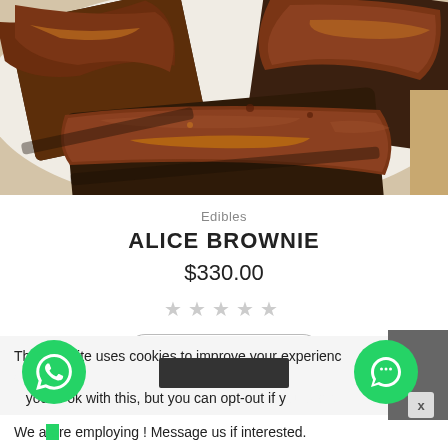[Figure (photo): Chocolate brownies with glossy chocolate topping on a white surface, viewed from above]
Edibles
ALICE BROWNIE
$330.00
[Figure (other): Five empty star rating icons]
ADD TO CART
This website uses cookies to improve your experience and you're ok with this, but you can opt-out if you wish.
We are employing ! Message us if interested.